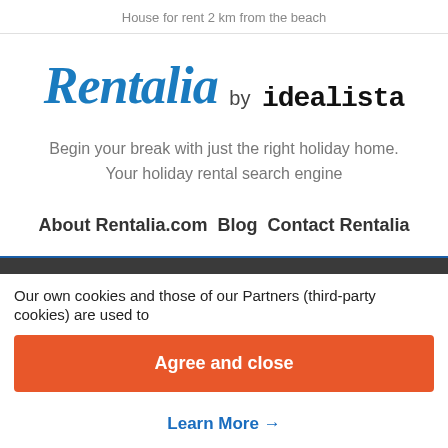House for rent 2 km from the beach
[Figure (logo): Rentalia by idealista logo — 'Rentalia' in blue italic serif font, 'by' in gray sans-serif, 'idealista' in black bold monospace font]
Begin your break with just the right holiday home. Your holiday rental search engine
About Rentalia.com  Blog  Contact Rentalia
Our own cookies and those of our Partners (third-party cookies) are used to
Agree and close
Learn More →